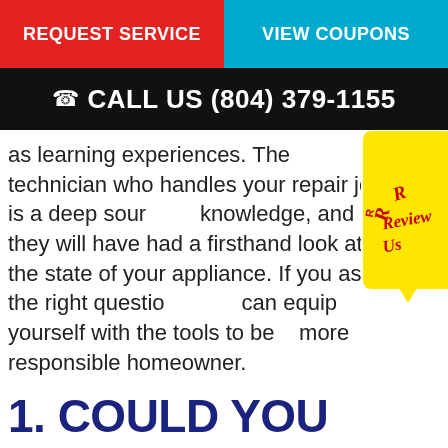REQUEST SERVICE
VIEW COUPONS
CALL US (804) 379-1155
as learning experiences. The technician who handles your repair job is a deep source of knowledge, and they will have had a firsthand look at the state of your appliance. If you ask the right questions, you can equip yourself with the tools to be a more responsible homeowner.
[Figure (illustration): Yellow speech bubble badge with 'Review Us' text in red cursive on a yellow background]
1. COULD YOU HAVE PREVENTED THIS